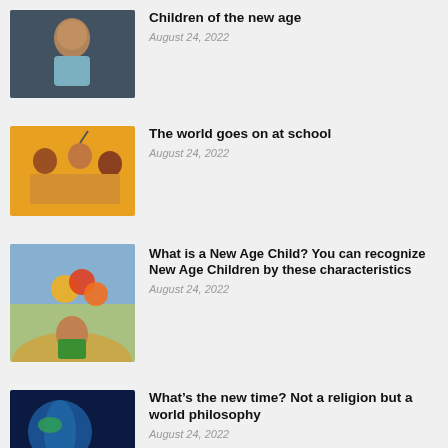[Figure (photo): Young toddler child looking sideways, dark background]
Children of the new age
August 24, 2022
[Figure (photo): Children raising hands in classroom, orange background]
The world goes on at school
August 24, 2022
[Figure (photo): Child holding colorful balloons outdoors]
What is a New Age Child? You can recognize New Age Children by these characteristics
August 24, 2022
[Figure (photo): Globe Earth with paper cutout people holding hands, blue background]
What’s the new time? Not a religion but a world philosophy
August 24, 2022
[Figure (photo): Rainbow over blue sky with clouds]
LOOK, Rainbow Children!,